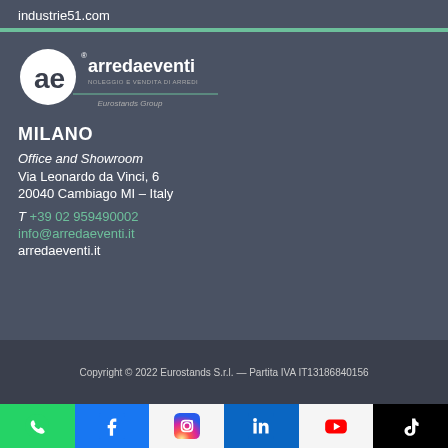industrie51.com
[Figure (logo): Arreda Eventi logo with 'ae' circular mark and 'NOLEGGIO E VENDITA DI ARREDI' tagline, Eurostands Group]
MILANO
Office and Showroom
Via Leonardo da Vinci, 6
20040 Cambiago MI – Italy
T +39 02 959490002
info@arredaeventi.it
arredaeventi.it
Copyright © 2022 Eurostands S.r.l. — Partita IVA IT13186840156
[Figure (infographic): Social media icons bar: WhatsApp, Facebook, Instagram, LinkedIn, YouTube, TikTok]